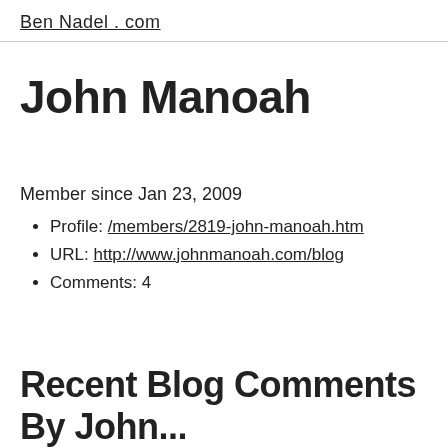Ben Nadel . com
John Manoah
Member since Jan 23, 2009
Profile: /members/2819-john-manoah.htm
URL: http://www.johnmanoah.com/blog
Comments: 4
Recent Blog Comments By John...